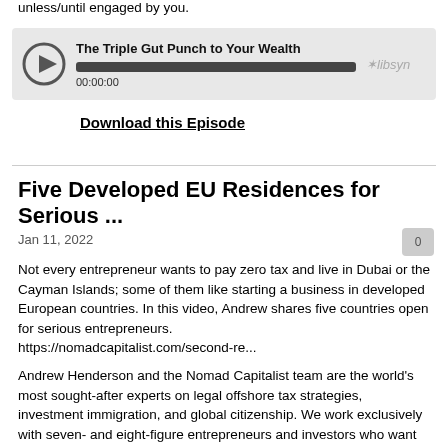unless/until engaged by you.
[Figure (screenshot): Libsyn audio player widget showing episode title 'The Triple Gut Punch to Your Wealth', play button, progress bar, timestamp 00:00:00, and Libsyn logo]
Download this Episode
Five Developed EU Residences for Serious ...
Jan 11, 2022
Not every entrepreneur wants to pay zero tax and live in Dubai or the Cayman Islands; some of them like starting a business in developed European countries. In this video, Andrew shares five countries open for serious entrepreneurs.
https://nomadcapitalist.com/second-re...
Andrew Henderson and the Nomad Capitalist team are the world's most sought-after experts on legal offshore tax strategies, investment immigration, and global citizenship. We work exclusively with seven- and eight-figure entrepreneurs and investors who want to "go where they're treated best".
Work with Andrew: https://nomadcapitalist.com/apply/
Andrew has started offshore companies, opened dozens of offshore bank